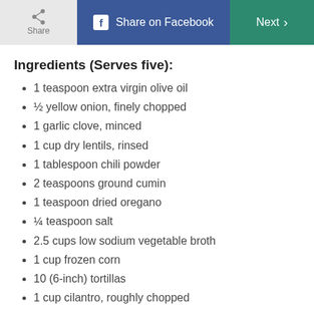Share | Share on Facebook | Next >
Ingredients (Serves five):
1 teaspoon extra virgin olive oil
½ yellow onion, finely chopped
1 garlic clove, minced
1 cup dry lentils, rinsed
1 tablespoon chili powder
2 teaspoons ground cumin
1 teaspoon dried oregano
¼ teaspoon salt
2.5 cups low sodium vegetable broth
1 cup frozen corn
10 (6-inch) tortillas
1 cup cilantro, roughly chopped